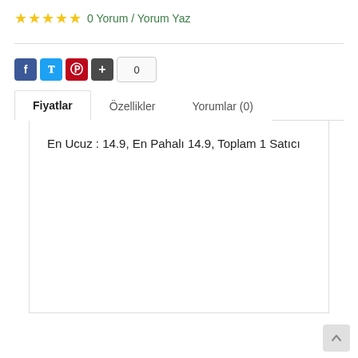★★★★★ 0 Yorum / Yorum Yaz
[Figure (other): Social share buttons: Facebook (blue), Twitter (blue), Pinterest (red), plus button (dark), share count showing 0]
Fiyatlar | Özellikler | Yorumlar (0)
En Ucuz : 14.9, En Pahalı 14.9, Toplam 1 Satıcı